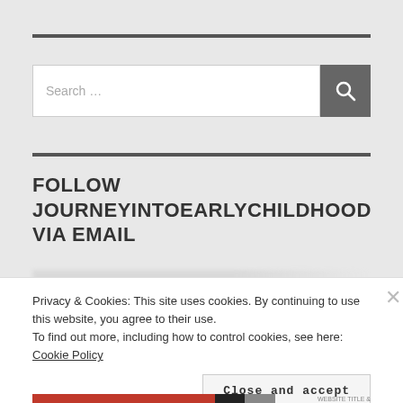[Figure (other): Search input field with placeholder 'Search ...' and a dark search button with magnifying glass icon]
FOLLOW JOURNEYINTOEARLYCHILDHOOD VIA EMAIL
Privacy & Cookies: This site uses cookies. By continuing to use this website, you agree to their use.
To find out more, including how to control cookies, see here: Cookie Policy
Close and accept